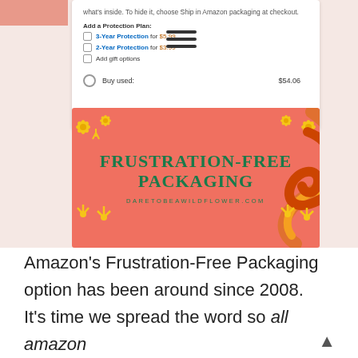[Figure (screenshot): Screenshot of Amazon checkout page showing protection plan options and 'Buy used' option, overlaid on a pink/salmon background image with 'Frustration-Free Packaging' text in green and the URL daretobeawildflower.com, decorated with yellow flower illustrations and an orange squiggle graphic.]
Amazon's Frustration-Free Packaging option has been around since 2008. It's time we spread the word so all amazon